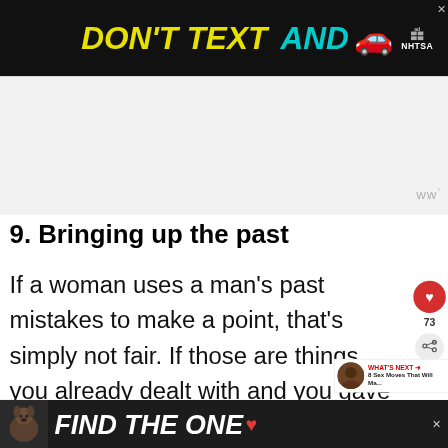[Figure (screenshot): Top advertisement banner: dark background with yellow italic text 'DON'T TEXT AND' in cyan, red car emoji, and NHTSA logo with ad indicator and close X button]
[Figure (screenshot): Gray advertisement placeholder region with WW logo watermark in grey on right side]
9. Bringing up the past
If a woman uses a man's past mistakes to make a point, that's simply not fair. If those are things you already dealt with and you gave him your forgiveness for, he will see that you are just guil... him and he can't be happy about that.
[Figure (screenshot): Bottom advertisement banner: dark background with dog photo and white italic bold text 'FIND THE ONE' with heart icon, close X button, WW logo]
[Figure (screenshot): Right sidebar with red heart circle button, like count '73', and share button]
[Figure (screenshot): What's Next widget: thumbnail of person, red label 'WHAT'S NEXT', text '8 Sex Moves That Will Ma...']